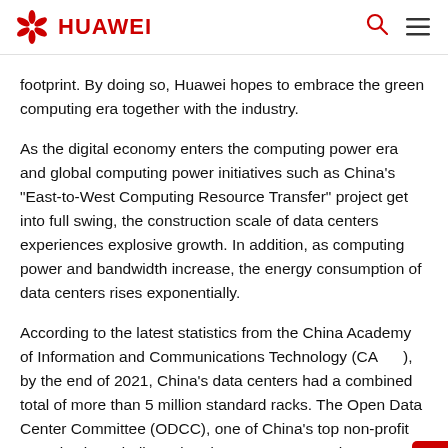HUAWEI
footprint. By doing so, Huawei hopes to embrace the green computing era together with the industry.
As the digital economy enters the computing power era and global computing power initiatives such as China's "East-to-West Computing Resource Transfer" project get into full swing, the construction scale of data centers experiences explosive growth. In addition, as computing power and bandwidth increase, the energy consumption of data centers rises exponentially.
According to the latest statistics from the China Academy of Information and Communications Technology (CAICT), by the end of 2021, China's data centers had a combined total of more than 5 million standard racks. The Open Data Center Committee (ODCC), one of China's top non-profit organizations dedicated to data center research